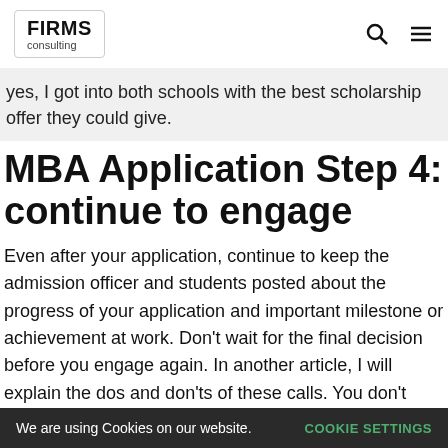FIRMS consulting
yes, I got into both schools with the best scholarship offer they could give.
MBA Application Step 4: continue to engage
Even after your application, continue to keep the admission officer and students posted about the progress of your application and important milestone or achievement at work. Don't wait for the final decision before you engage again. In another article, I will explain the dos and don'ts of these calls. You don't want to sound needy in these calls. Instead, approach it from the genuine stances of wanting to learn more about the
We are using Cookies on our website. COOKIE SETTINGS